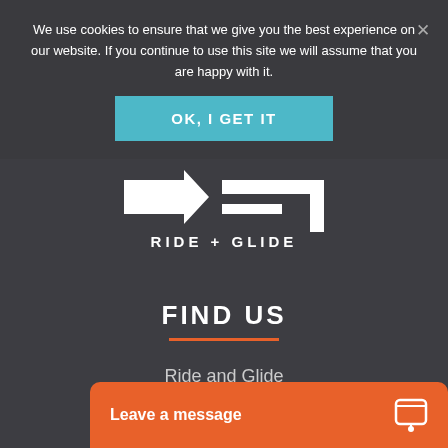We use cookies to ensure that we give you the best experience on our website. If you continue to use this site we will assume that you are happy with it.
OK, I GET IT
[Figure (logo): Ride + Glide logo with stylized arrow and bar graphic above the text RIDE + GLIDE]
FIND US
Ride and Glide
Leave a message